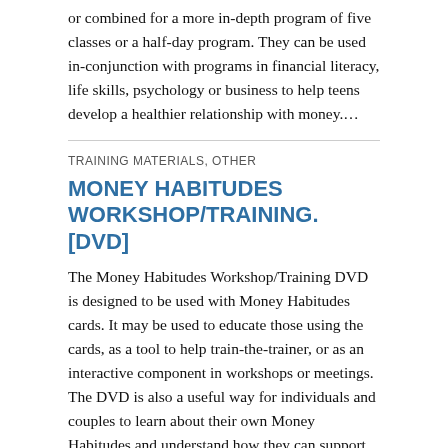or combined for a more in-depth program of five classes or a half-day program. They can be used in-conjunction with programs in financial literacy, life skills, psychology or business to help teens develop a healthier relationship with money.…
TRAINING MATERIALS, OTHER
MONEY HABITUDES WORKSHOP/TRAINING. [DVD]
The Money Habitudes Workshop/Training DVD is designed to be used with Money Habitudes cards. It may be used to educate those using the cards, as a tool to help train-the-trainer, or as an interactive component in workshops or meetings. The DVD is also a useful way for individuals and couples to learn about their own Money Habitudes and understand how they can support or sabotage achieving their life and financial goals. The 26-minute DVD is divided into four sections: Introduction and overview to how we develop our habits and attitudes about money (12 minutes); How to